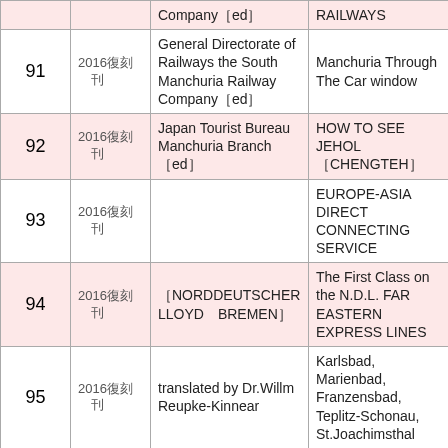| No. | Year | Publisher/Author | Title |
| --- | --- | --- | --- |
|  |  | Company［ed］ | RAILWAYS |
| 91 | 2016復刻　刊 | General Directorate of Railways the South Manchuria Railway Company［ed］ | Manchuria Through The Car window |
| 92 | 2016復刻　刊 | Japan Tourist Bureau Manchuria Branch ［ed］ | HOW TO SEE JEHOL ［CHENGTEH］ |
| 93 | 2016復刻　刊 |  | EUROPE-ASIA DIRECT CONNECTING SERVICE |
| 94 | 2016復刻　刊 | ［NORDDEUTSCHER LLOYD　BREMEN］ | The First Class on the N.D.L. FAR EASTERN EXPRESS LINES |
| 95 | 2016復刻　刊 | translated by Dr.Willm Reupke-Kinnear | Karlsbad, Marienbad, Franzensbad, Teplitz-Schonau, St.Joachimsthal |
| 96 | 2016復刻　刊 | Bäder- und Kurverwaltung Baden-Baden［ed］　［translated by F.R | England in BADEN-BADEN |